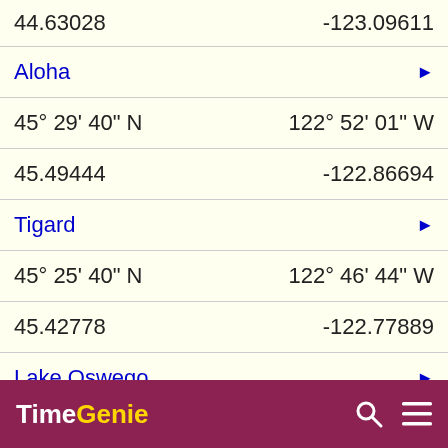44.63028 / -123.09611
Aloha ▶
45° 29' 40" N / 122° 52' 01" W
45.49444 / -122.86694
Tigard ▶
45° 25' 40" N / 122° 46' 44" W
45.42778 / -122.77889
Lake Oswego ▶
TimeGenie